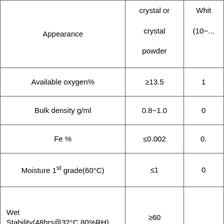| Parameter | Standard | Value |
| --- | --- | --- |
| Appearance | crystal or crystal powder | White (10~...) |
| Available oxygen% | ≥13.5 | 1... |
| Bulk density g/ml | 0.8~1.0 | 0... |
| Fe % | ≤0.002 | 0.... |
| Moisture 1st grade(60°C) | ≤1 | 0... |
| Wet Stability(48hrs@32°C,80%RH) | ≥60 |  |
| Heat stability (32°C,24hrs) | ≥70 |  |
| PH Value(25°C) | 10~11 | 1... |